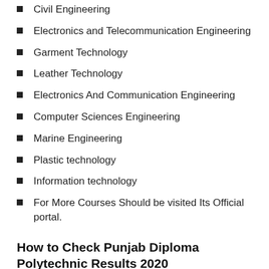Civil Engineering
Electronics and Telecommunication Engineering
Garment Technology
Leather Technology
Electronics And Communication Engineering
Computer Sciences Engineering
Marine Engineering
Plastic technology
Information technology
For More Courses Should be visited Its Official portal.
How to Check Punjab Diploma Polytechnic Results 2020
At First, Students have to Visit its Official website